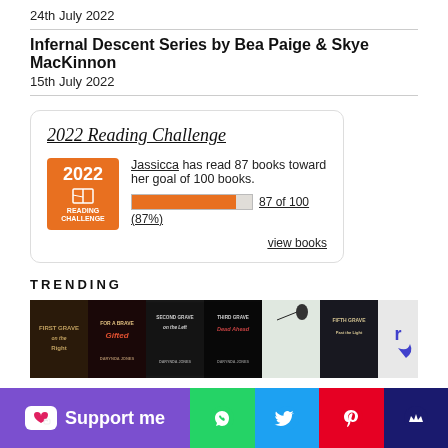24th July 2022
Infernal Descent Series by Bea Paige & Skye MacKinnon
15th July 2022
[Figure (infographic): 2022 Reading Challenge widget showing Jassicca has read 87 books toward her goal of 100 books, 87 of 100 (87%), with progress bar and view books link]
TRENDING
[Figure (photo): Row of book covers for trending books including First Grave, For a Brave, Second Grave on the Left, Third Grave Dead Ahead, and others]
[Figure (infographic): Bottom social sharing bar with Support me button (Ko-fi), WhatsApp, Twitter, Pinterest, and crown icons]